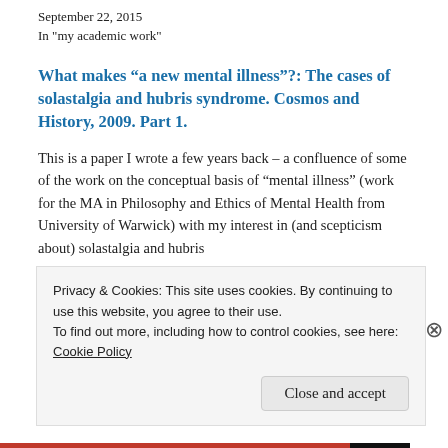September 22, 2015
In "my academic work"
What makes “a new mental illness”?: The cases of solastalgia and hubris syndrome. Cosmos and History, 2009. Part 1.
This is a paper I wrote a few years back – a confluence of some of the work on the conceptual basis of "mental illness" (work for the MA in Philosophy and Ethics of Mental Health from University of Warwick) with my interest in (and scepticism about) solastalgia and hubris
September 22, 2015
In "philosophy"
Privacy & Cookies: This site uses cookies. By continuing to use this website, you agree to their use.
To find out more, including how to control cookies, see here:
Cookie Policy
Close and accept